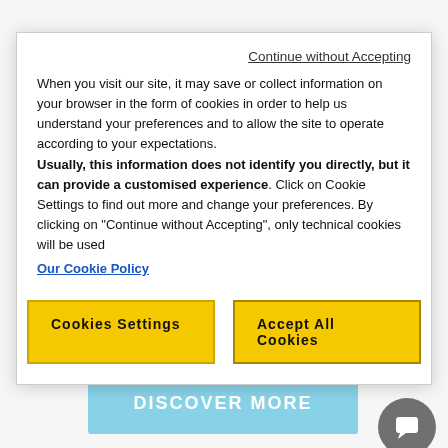[Figure (screenshot): Background page showing product images at top, product title 'PURE - HIP THRUST', a blue 'DISCOVER MORE' button, a 'Request a quote' link, and a dark chat button in bottom right.]
Continue without Accepting
When you visit our site, it may save or collect information on your browser in the form of cookies in order to help us understand your preferences and to allow the site to operate according to your expectations. Usually, this information does not identify you directly, but it can provide a customised experience. Click on Cookie Settings to find out more and change your preferences. By clicking on "Continue without Accepting", only technical cookies will be used
Our Cookie Policy
Cookies Settings
Accept All Cookies